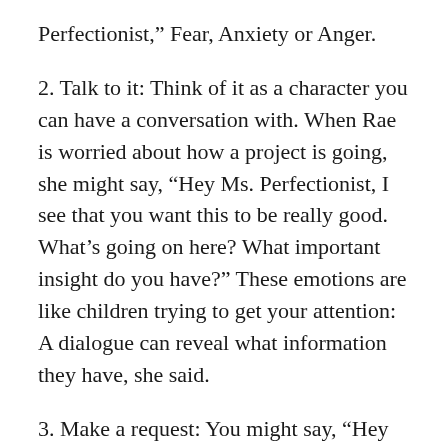Perfectionist,” Fear, Anxiety or Anger.
2. Talk to it: Think of it as a character you can have a conversation with. When Rae is worried about how a project is going, she might say, “Hey Ms. Perfectionist, I see that you want this to be really good. What’s going on here? What important insight do you have?” These emotions are like children trying to get your attention: A dialogue can reveal what information they have, she said.
3. Make a request: You might say, “Hey Fear, I know this is really important to you and you’re a